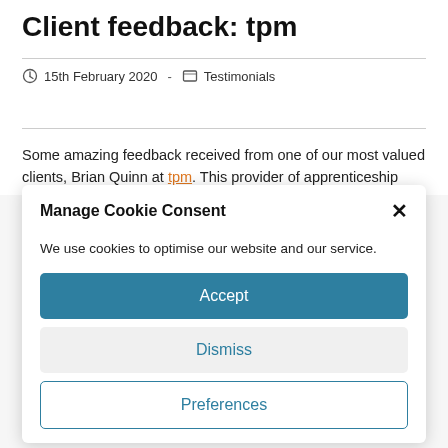Client feedback: tpm
15th February 2020  -  Testimonials
Some amazing feedback received from one of our most valued clients, Brian Quinn at tpm. This provider of apprenticeship and
Manage Cookie Consent
We use cookies to optimise our website and our service.
Accept
Dismiss
Preferences